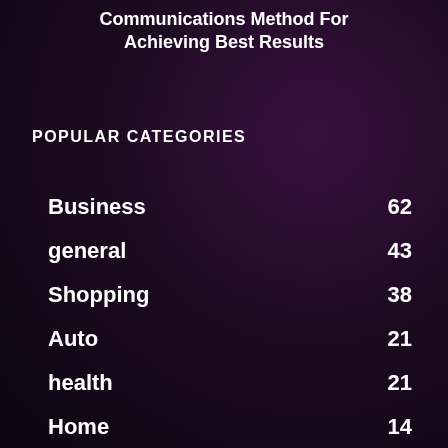Communications Method For Achieving Best Results
POPULAR CATEGORIES
Business 62
general 43
Shopping 38
Auto 21
health 21
Home 14